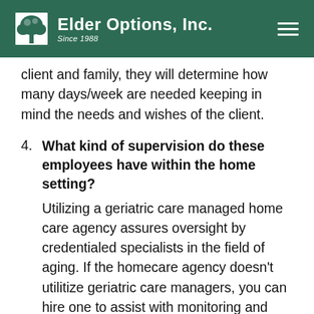Elder Options, Inc. Since 1988
client and family, they will determine how many days/week are needed keeping in mind the needs and wishes of the client.
4. What kind of supervision do these employees have within the home setting? Utilizing a geriatric care managed home care agency assures oversight by credentialed specialists in the field of aging. If the homecare agency doesn't utilitize geriatric care managers, you can hire one to assist with monitoring and oversight.